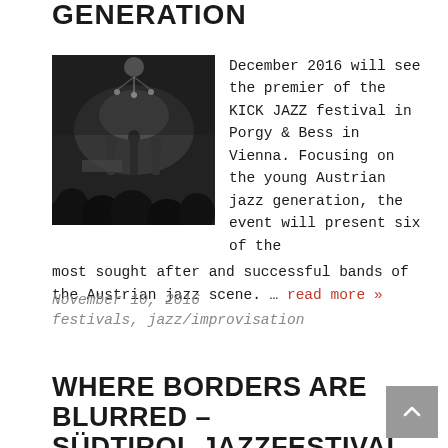GENERATION
[Figure (photo): Black and white photo of a jazz concert, audience silhouettes in foreground, musicians on a dimly lit stage with chandelier overhead]
December 2016 will see the premier of the KICK JAZZ festival in Porgy & Bess in Vienna. Focusing on the young Austrian jazz generation, the event will present six of the most sought after and successful bands of the Austrian jazz scene. … read more »
November 10, 2016
festivals, jazz/improvisation
WHERE BORDERS ARE BLURRED – SÜDTIROL JAZZFESTIVAL ALTO ADIGE